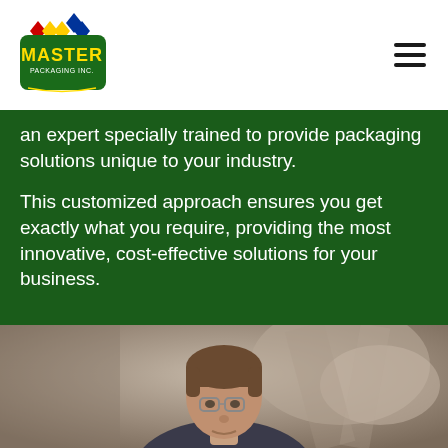Master Packaging Inc.
an expert specially trained to provide packaging solutions unique to your industry.
This customized approach ensures you get exactly what you require, providing the most innovative, cost-effective solutions for your business.
[Figure (photo): Portrait photo of a man with glasses and short brown hair, photographed indoors with blurred industrial background]